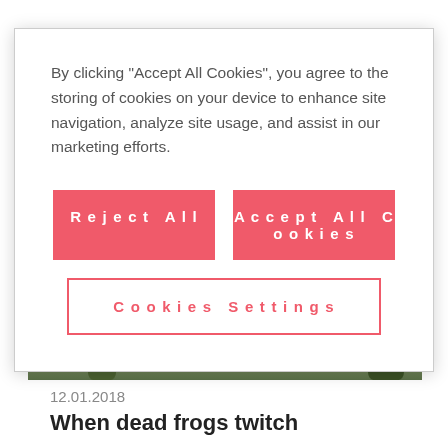By clicking “Accept All Cookies”, you agree to the storing of cookies on your device to enhance site navigation, analyze site usage, and assist in our marketing efforts.
Reject All
Accept All Cookies
Cookies Settings
[Figure (photo): Photo of a large classical stone building facade with arched entrance, trees in foreground, blue sky background]
12.01.2018
When dead frogs twitch